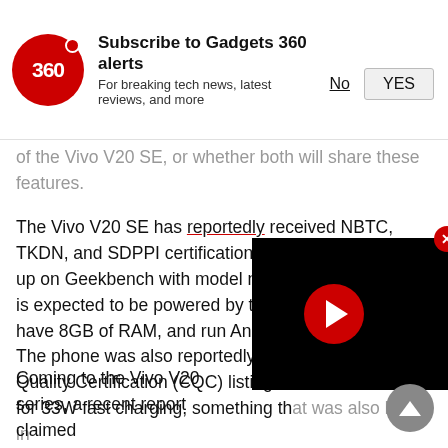[Figure (infographic): Subscribe to Gadgets 360 alerts notification banner with red circle logo showing '360', bold text 'Subscribe to Gadgets 360 alerts', subtitle 'For breaking tech news, latest reviews, and more', and buttons 'No' (underlined) and 'YES' (in a box)]
of the Vivo V20 SE, or whether both will share these features.
The Vivo V20 SE has reportedly received NBTC, TKDN, and SDPPI certifications, as well as popped up on Geekbench with model number Vivo V2022. It is expected to be powered by the Sna[pdragon], have 8GB of RAM, and run Android [10]. The phone was also reportedly spot[ted on China] Quality Certification (CQC) listing th[at it supports] for 33W fast charging, something that was also listed in the promo banner.
[Figure (screenshot): Black video player overlay with red circular play button in the center and a red close (X) button in the top right corner]
Coming to the Vivo V20 series, a recent report claimed